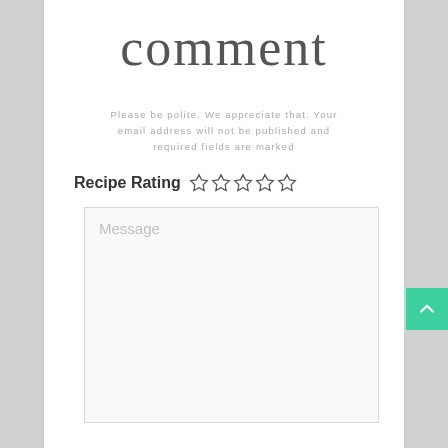comment
Please be polite. We appreciate that. Your email address will not be published and required fields are marked
Recipe Rating ☆☆☆☆☆
Message
[Figure (other): Green scroll-to-top button with upward chevron arrow]